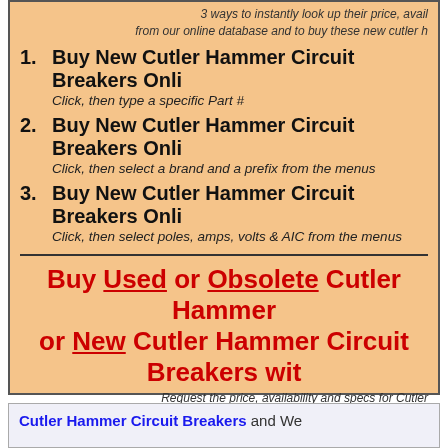3 ways to instantly look up their price, availability and specs from our online database and to buy these new cutler h
1. Buy New Cutler Hammer Circuit Breakers Onli
Click, then type a specific Part #
2. Buy New Cutler Hammer Circuit Breakers Onli
Click, then select a brand and a prefix from the menus
3. Buy New Cutler Hammer Circuit Breakers Onli
Click, then select poles, amps, volts & AIC from the menus
Buy Used or Obsolete Cutler Hammer or New Cutler Hammer Circuit Breakers wit
Request the price, availability and specs for Cutler accessories and enclosures and then buy the
4. Buy Cutler Hammer Circuit Breakers Online by
Click, then Request the price and availability online by Part #s or Specs, then receive our prompt e-mail response that lets you see your quotes and order the items online.
Cutler Hammer Circuit Breakers and We